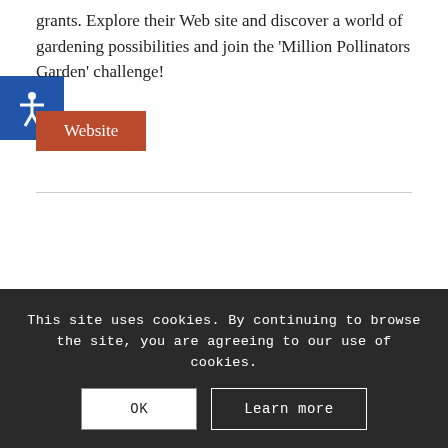grants. Explore their Web site and discover a world of gardening possibilities and join the 'Million Pollinators Garden' challenge!
Website
This site uses cookies. By continuing to browse the site, you are agreeing to our use of cookies.
OK
Learn more